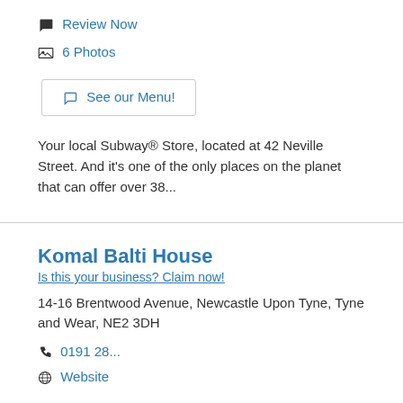Review Now
6 Photos
See our Menu!
Your local Subway® Store, located at 42 Neville Street. And it's one of the only places on the planet that can offer over 38...
Komal Balti House
Is this your business? Claim now!
14-16 Brentwood Avenue, Newcastle Upon Tyne, Tyne and Wear, NE2 3DH
0191 28...
Website